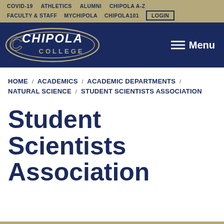COVID-19  ATHLETICS  ALUMNI  CHIPOLA A-Z  FACULTY & STAFF  MYCHIPOLA  CHIPOLA101  LOGIN
[Figure (logo): Chipola College logo with Menu button on dark blue header bar]
HOME / ACADEMICS / ACADEMIC DEPARTMENTS / NATURAL SCIENCE / STUDENT SCIENTISTS ASSOCIATION
Student Scientists Association